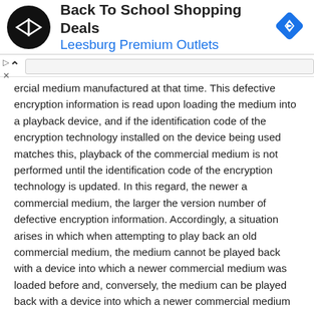[Figure (other): Advertisement banner for Back To School Shopping Deals at Leesburg Premium Outlets, with circular black logo containing a double-arrow symbol and a blue diamond navigation icon on the right.]
ercial medium manufactured at that time. This defective encryption information is read upon loading the medium into a playback device, and if the identification code of the encryption technology installed on the device being used matches this, playback of the commercial medium is not performed until the identification code of the encryption technology is updated. In this regard, the newer a commercial medium, the larger the version number of defective encryption information. Accordingly, a situation arises in which when attempting to play back an old commercial medium, the medium cannot be played back with a device into which a newer commercial medium was loaded before and, conversely, the medium can be played back with a device into which a newer commercial medium was not loaded before.
However, there are many conceivable causes for such a phenomenon in which the playback operation does not work, other than the version number of encryption information. Thus, even if the version number of encryption information is the cause, it is often difficult to determine as such, making it impossible for the user to take appropriate actions.